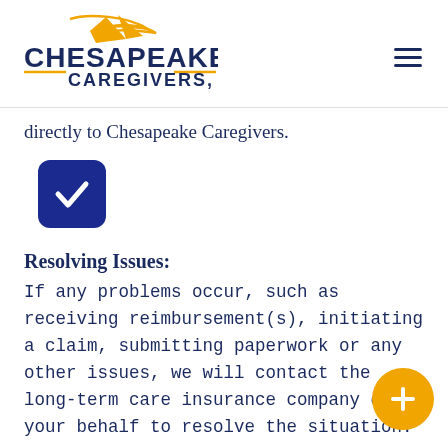Chesapeake Caregivers, Inc.
directly to Chesapeake Caregivers.
[Figure (illustration): Dark blue rounded square checkbox icon with a white checkmark]
Resolving Issues:
If any problems occur, such as receiving reimbursement(s), initiating a claim, submitting paperwork or any other issues, we will contact the long-term care insurance company on your behalf to resolve the situation.